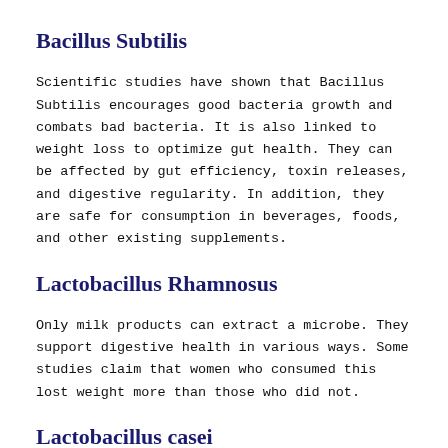Bacillus Subtilis
Scientific studies have shown that Bacillus Subtilis encourages good bacteria growth and combats bad bacteria. It is also linked to weight loss to optimize gut health. They can be affected by gut efficiency, toxin releases, and digestive regularity. In addition, they are safe for consumption in beverages, foods, and other existing supplements.
Lactobacillus Rhamnosus
Only milk products can extract a microbe. They support digestive health in various ways. Some studies claim that women who consumed this lost weight more than those who did not.
Lactobacillus casei